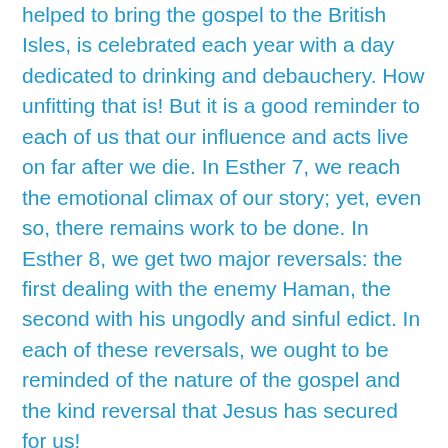helped to bring the gospel to the British Isles, is celebrated each year with a day dedicated to drinking and debauchery. How unfitting that is! But it is a good reminder to each of us that our influence and acts live on far after we die. In Esther 7, we reach the emotional climax of our story; yet, even so, there remains work to be done. In Esther 8, we get two major reversals: the first dealing with the enemy Haman, the second with his ungodly and sinful edict. In each of these reversals, we ought to be reminded of the nature of the gospel and the kind reversal that Jesus has secured for us!
1. The reversal in the fortune of the enemy
While chapter 6 gave us a look at a temporary reversal of fortune, chapter 8 completes the act. The great Haman, noticed and honored by all, is desecrated and dead on a pike; the lowly Mordecai, overlooked by everyone, is